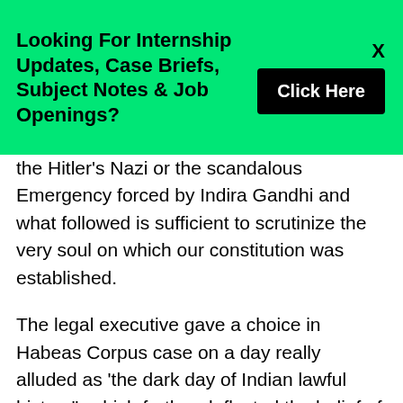Looking For Internship Updates, Case Briefs, Subject Notes & Job Openings?
the Hitler's Nazi or the scandalous Emergency forced by Indira Gandhi and what followed is sufficient to scrutinize the very soul on which our constitution was established.
The legal executive gave a choice in Habeas Corpus case on a day really alluded as 'the dark day of Indian lawful history", which further deflected the belief of individuals in legal executive. In this choice the individual freedoms and essential rights were removed subjectively and the Honourable Supreme Court in not so honourable choice defended it for